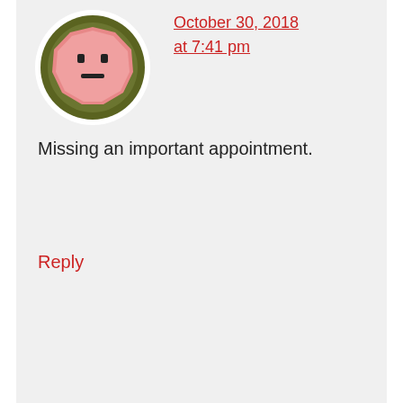[Figure (illustration): Avatar icon showing a pink stop-sign shaped emoji with a dark olive green circular border, white background circle]
October 30, 2018 at 7:41 pm
Missing an important appointment.
Reply
[Figure (illustration): Avatar icon showing a yellow worried/sad face emoji with wide eyes and frown, green circular gradient border, white background circle]
Julie Waldron says
November 1, 2018 at 6:58 am
My biggest fear is losing a loved